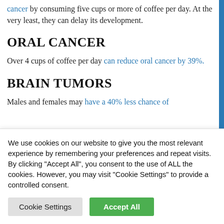cancer by consuming five cups or more of coffee per day. At the very least, they can delay its development.
ORAL CANCER
Over 4 cups of coffee per day can reduce oral cancer by 39%.
BRAIN TUMORS
Males and females may have a 40% less chance of
We use cookies on our website to give you the most relevant experience by remembering your preferences and repeat visits. By clicking "Accept All", you consent to the use of ALL the cookies. However, you may visit "Cookie Settings" to provide a controlled consent.